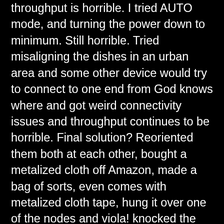throughput is horrible. I tried AUTO mode, and turning the power down to minimum. Still horrible. Tried misaligning the dishes in an urban area and some other device would try to connect to one end from God knows where and got weird connectivity issues and throughput continues to be horrible. Final solution? Reoriented them both at each other, bought a metalized cloth off Amazon, made a bag of sorts, even comes with metalized cloth tape, hung it over one of the nodes and viola! knocked the signal down to -60dBm, and I can get darn near 700MB throughout (out of a theoretical 866MB throughput). As I am an RF engineer by trade, seriously thinking about popping the open (they are long since out of warranty) and installing a 20dB to 30dB attenuator internally in each (yes I know I could double it on one end but I would prefer to make them identical to help with inband interference from other devices in the area.) and doing away with the bag since it isn't